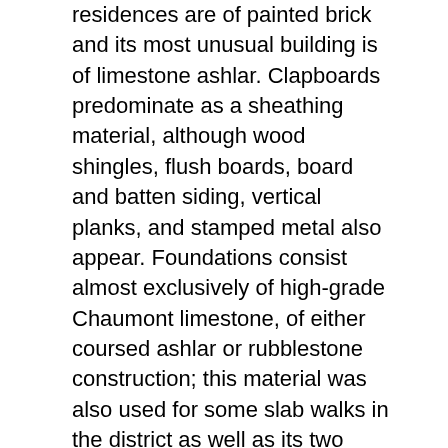residences are of painted brick and its most unusual building is of limestone ashlar. Clapboards predominate as a sheathing material, although wood shingles, flush boards, board and batten siding, vertical planks, and stamped metal also appear. Foundations consist almost exclusively of high-grade Chaumont limestone, of either coursed ashlar or rubblestone construction; this material was also used for some slab walks in the district as well as its two surviving carriage blocks. Typical windows are six-over-six and two-over-two light double-hung sash with pedimented or ornamental surrounds; typical doors feature either four or six vertical panels or a segmental-arched light above horizontal panels. Roofing materials consist primarily of asphalt shingles or standing-seam metal. Although some structural modifications have occurred within the Chaumont Historic District, including porch and window alterations and modern siding, its buildings retain